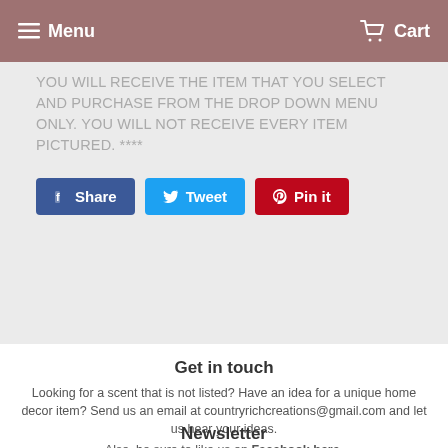Menu   Cart
YOU WILL RECEIVE THE ITEM THAT YOU SELECT AND PURCHASE FROM THE DROP DOWN MENU ONLY. YOU WILL NOT RECEIVE EVERY ITEM PICTURED. ****
[Figure (other): Social share buttons: Share (Facebook, blue), Tweet (Twitter, light blue), Pin it (Pinterest, red)]
Get in touch
Looking for a scent that is not listed?  Have an idea for a unique home decor item?  Send us an email at countryrichcreations@gmail.com and let us hear your ideas.

Also, be sure to like us on Facebook here.
Newsletter